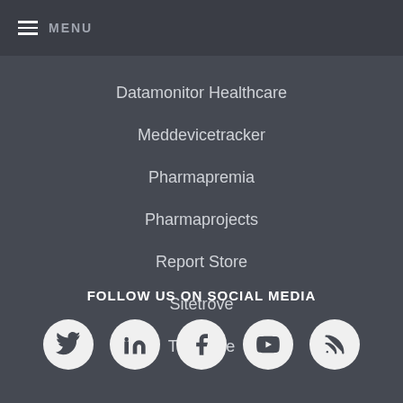MENU
Datamonitor Healthcare
Meddevicetracker
Pharmapremia
Pharmaprojects
Report Store
Sitetrove
Trialtrove
FOLLOW US ON SOCIAL MEDIA
[Figure (illustration): Social media icons: Twitter, LinkedIn, Facebook, YouTube, RSS feed]